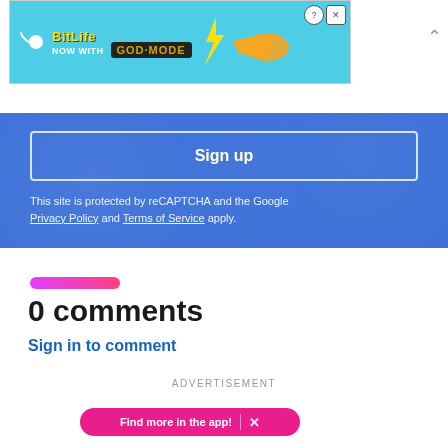[Figure (screenshot): BitLife advertisement banner with cyan background showing BitLife logo and 'GOD MODE' text with a pointing hand graphic, close and help buttons]
[Figure (screenshot): Blue signup form area with Sign up button and reCAPTCHA notice, Privacy Policy and Terms of Service links]
This site is protected by reCAPTCHA and the Google Privacy Policy and Terms of Service apply.
0 comments
Sign in to comment
ADVERTISEMENT
[Figure (screenshot): NBC News advertisement banner with teal background showing NBC News logo and 'Find more in the app!' pink pill notification with X button]